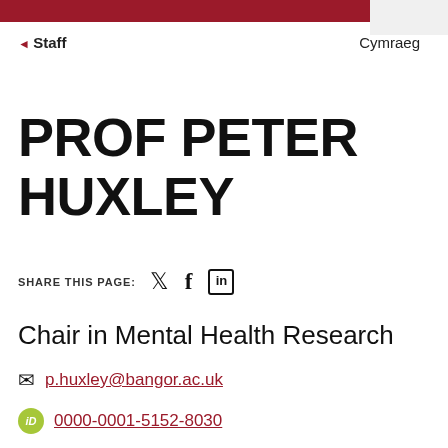◄ Staff | Cymraeg
PROF PETER HUXLEY
SHARE THIS PAGE:
Chair in Mental Health Research
p.huxley@bangor.ac.uk
0000-0001-5152-8030